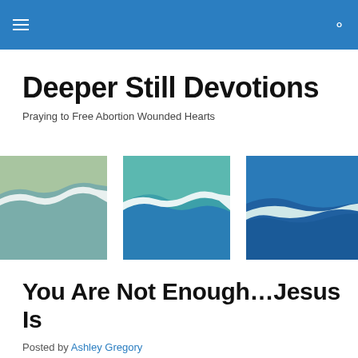Deeper Still Devotions — navigation header
Deeper Still Devotions
Praying to Free Abortion Wounded Hearts
[Figure (illustration): Three side-by-side square panels showing abstract wave/shoreline illustrations. Left panel has sage green and white tones, middle panel has teal green and blue tones with a white wave shape, right panel (partially visible) has deep blue tones with a white wave shape.]
You Are Not Enough…Jesus Is
Posted by Ashley Gregory